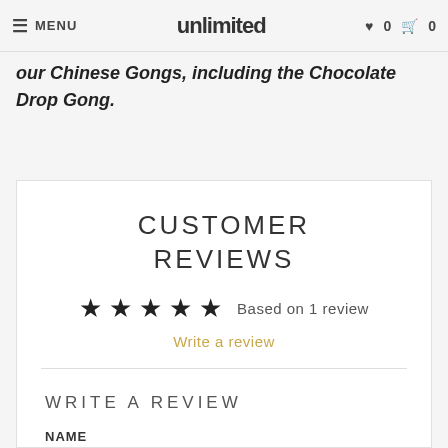≡ MENU  unlimited  ♥ 0  🛒 0
our Chinese Gongs, including the Chocolate Drop Gong.
CUSTOMER REVIEWS
★★★★★ Based on 1 review
Write a review
WRITE A REVIEW
NAME